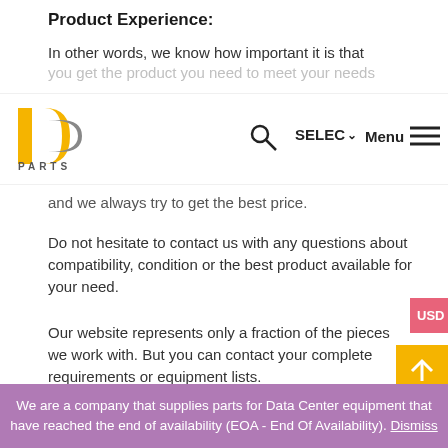Product Experience:
In other words, we know how important it is that you get the product you need to meet your needs
[Figure (logo): DC Parts logo — stylized DC letters in yellow/gray with PARTS text below]
and we always try to get the best price.
Do not hesitate to contact us with any questions about compatibility, condition or the best product available for your need.
Our website represents only a fraction of the pieces we work with. But you can contact your complete requirements or equipment lists.
We are a company that supplies parts for Data Center equipment that have reached the end of availability (EOA - End Of Availability). Dismiss